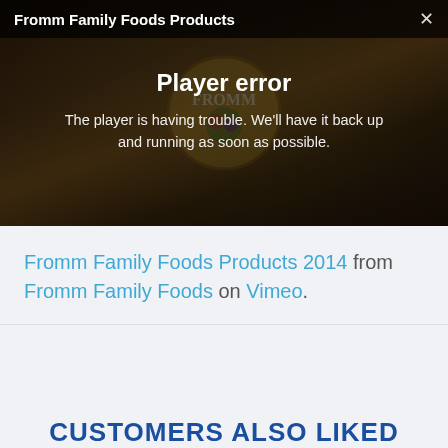[Figure (screenshot): Video player showing Fromm Family Foods Products with a player error overlay. The player has a dark background with a Fromm logo partially visible. A title bar at the top reads 'Fromm Family Foods Products' with a close (X) button. An error message in the center reads 'Player error' in bold with subtext 'The player is having trouble. We'll have it back up and running as soon as possible.']
Fromm Family Foods Products 2014 from Fromm Family Foods on Vimeo.
CUSTOMERS ALSO LIKED